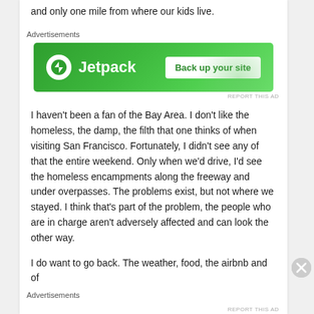and only one mile from where our kids live.
Advertisements
[Figure (screenshot): Jetpack advertisement banner with green background showing Jetpack logo and 'Back up your site' button]
REPORT THIS AD
I haven't been a fan of the Bay Area. I don't like the homeless, the damp, the filth that one thinks of when visiting San Francisco. Fortunately, I didn't see any of that the entire weekend. Only when we'd drive, I'd see the homeless encampments along the freeway and under overpasses. The problems exist, but not where we stayed. I think that's part of the problem, the people who are in charge aren't adversely affected and can look the other way.
I do want to go back. The weather, food, the airbnb and of
Advertisements
REPORT THIS AD